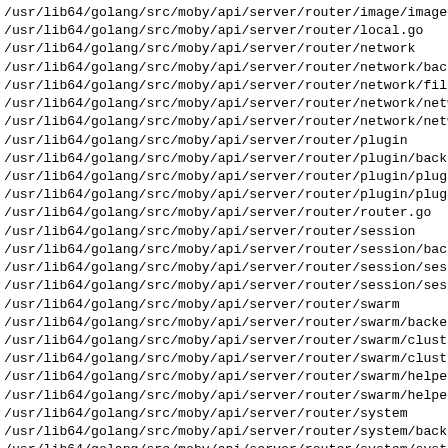/usr/lib64/golang/src/moby/api/server/router/image/image-
/usr/lib64/golang/src/moby/api/server/router/local.go
/usr/lib64/golang/src/moby/api/server/router/network
/usr/lib64/golang/src/moby/api/server/router/network/back
/usr/lib64/golang/src/moby/api/server/router/network/filt
/usr/lib64/golang/src/moby/api/server/router/network/netw
/usr/lib64/golang/src/moby/api/server/router/network/netw
/usr/lib64/golang/src/moby/api/server/router/plugin
/usr/lib64/golang/src/moby/api/server/router/plugin/backe
/usr/lib64/golang/src/moby/api/server/router/plugin/plugi
/usr/lib64/golang/src/moby/api/server/router/plugin/plugi
/usr/lib64/golang/src/moby/api/server/router/router.go
/usr/lib64/golang/src/moby/api/server/router/session
/usr/lib64/golang/src/moby/api/server/router/session/back
/usr/lib64/golang/src/moby/api/server/router/session/sess
/usr/lib64/golang/src/moby/api/server/router/session/sess
/usr/lib64/golang/src/moby/api/server/router/swarm
/usr/lib64/golang/src/moby/api/server/router/swarm/backen
/usr/lib64/golang/src/moby/api/server/router/swarm/cluste
/usr/lib64/golang/src/moby/api/server/router/swarm/cluste
/usr/lib64/golang/src/moby/api/server/router/swarm/helper
/usr/lib64/golang/src/moby/api/server/router/swarm/helper
/usr/lib64/golang/src/moby/api/server/router/system
/usr/lib64/golang/src/moby/api/server/router/system/backe
/usr/lib64/golang/src/moby/api/server/router/system/syste
/usr/lib64/golang/src/moby/api/server/router/system/syste
/usr/lib64/golang/src/moby/api/server/router/volume
/usr/lib64/golang/src/moby/api/server/router/volume/backe
/usr/lib64/golang/src/moby/api/server/router/volume/volum
/usr/lib64/golang/src/moby/api/server/router/volume/volum